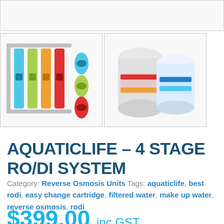[Figure (photo): Top partial product image bar showing white background]
[Figure (photo): Thumbnail of AquaticLife 4-stage RO/DI filter system with colorful filter cartridges]
[Figure (photo): Thumbnail of white cylindrical filter cartridges with colorful labels]
AQUATICLIFE – 4 STAGE RO/DI SYSTEM
Category: Reverse Osmosis Units Tags: aquaticlife, best rodi, easy change cartridge, filtered water, make up water, reverse osmosis, rodi
$399.00 inc GST